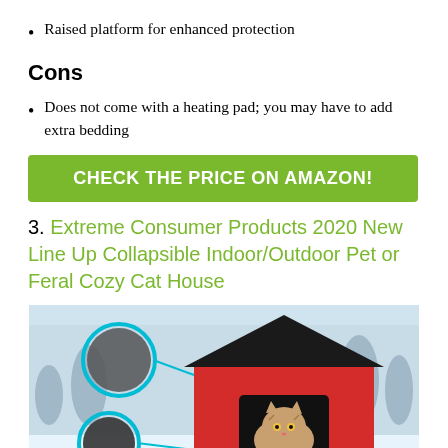Raised platform for enhanced protection
Cons
Does not come with a heating pad; you may have to add extra bedding
CHECK THE PRICE ON AMAZON!
3. Extreme Consumer Products 2020 New Line Up Collapsible Indoor/Outdoor Pet or Feral Cozy Cat House
[Figure (photo): A red and black collapsible cat house with a kitten peeking out of the window opening, set against a winter background with snow-covered trees. Two circular detail callouts shown on the left side.]